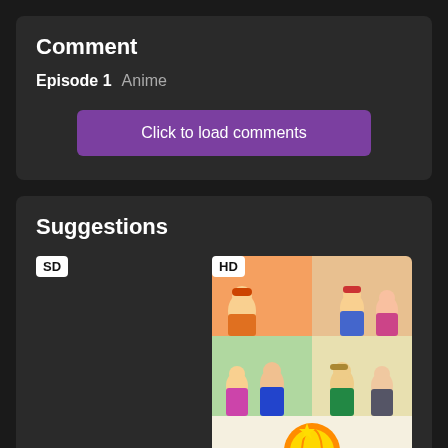Comment
Episode 1  Anime
Click to load comments
Suggestions
[Figure (other): SD quality badge with empty card placeholder]
[Figure (illustration): HD quality badge with anime show thumbnail collage and World Fool News logo]